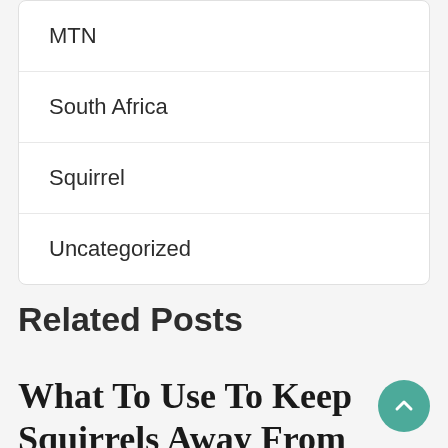MTN
South Africa
Squirrel
Uncategorized
Related Posts
What To Use To Keep Squirrels Away From Plants?